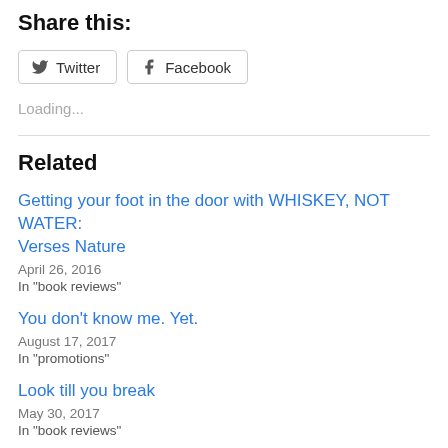Share this:
Twitter  Facebook
Loading...
Related
Getting your foot in the door with WHISKEY, NOT WATER: Verses Nature
April 26, 2016
In "book reviews"
You don't know me. Yet.
August 17, 2017
In "promotions"
Look till you break
May 30, 2017
In "book reviews"